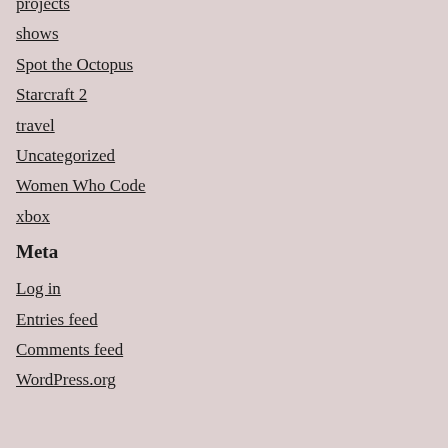projects
shows
Spot the Octopus
Starcraft 2
travel
Uncategorized
Women Who Code
xbox
Meta
Log in
Entries feed
Comments feed
WordPress.org